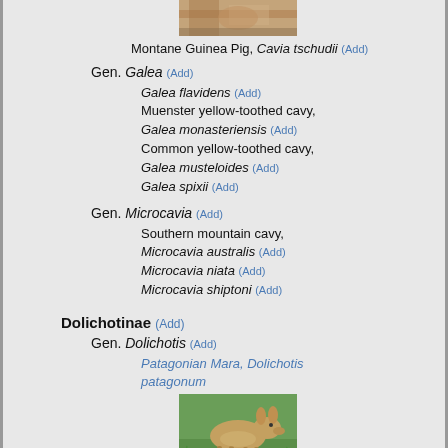[Figure (photo): Top of page partial photo of Montane Guinea Pig (Cavia tschudii), brownish fur visible]
Montane Guinea Pig, Cavia tschudii (Add)
Gen. Galea (Add)
Galea flavidens (Add)
Muenster yellow-toothed cavy, Galea monasteriensis (Add)
Common yellow-toothed cavy, Galea musteloides (Add)
Galea spixii (Add)
Gen. Microcavia (Add)
Southern mountain cavy, Microcavia australis (Add)
Microcavia niata (Add)
Microcavia shiptoni (Add)
Dolichotinae (Add)
Gen. Dolichotis (Add)
Patagonian Mara, Dolichotis patagonum
[Figure (photo): Photo of a Patagonian Mara (Dolichotis patagonum), a large rodent with long ears, on green grass]